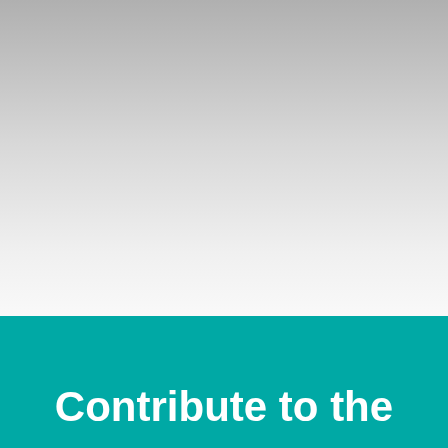[Figure (illustration): Gray gradient background fading from medium gray at top to white at bottom, occupying the upper portion of the page.]
Contribute to the